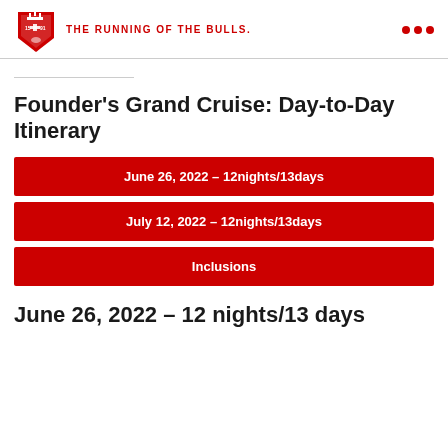THE RUNNING OF THE BULLS
Founder's Grand Cruise: Day-to-Day Itinerary
June 26, 2022 – 12nights/13days
July 12, 2022 – 12nights/13days
Inclusions
June 26, 2022 – 12 nights/13 days